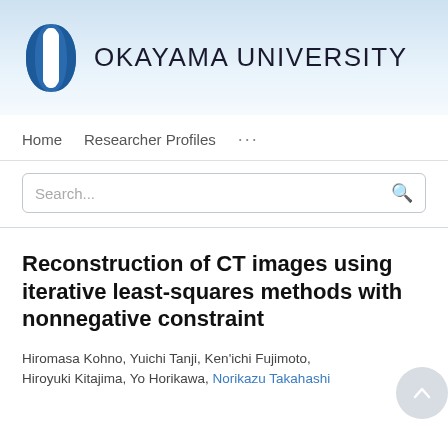[Figure (logo): Okayama University logo: stylized blue and white oval/lantern shape, followed by text OKAYAMA UNIVERSITY in large sans-serif]
Home   Researcher Profiles   ...
Search...
Reconstruction of CT images using iterative least-squares methods with nonnegative constraint
Hiromasa Kohno, Yuichi Tanji, Ken'ichi Fujimoto, Hiroyuki Kitajima, Yo Horikawa, Norikazu Takahashi